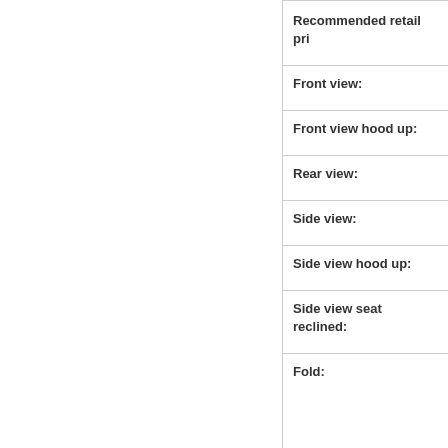Recommended retail pri
Front view:
Front view hood up:
Rear view:
Side view:
Side view hood up:
Side view seat reclined:
Fold: